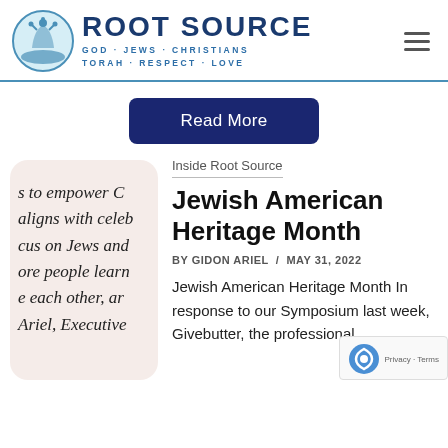ROOT SOURCE GOD · JEWS · CHRISTIANS TORAH · RESPECT · LOVE
Read More
s to empower C aligns with celeb cus on Jews and ore people lear e each other, ar Ariel, Executive
Inside Root Source
Jewish American Heritage Month
BY GIDON ARIEL / MAY 31, 2022
Jewish American Heritage Month In response to our Symposium last week, Givebutter, the professional